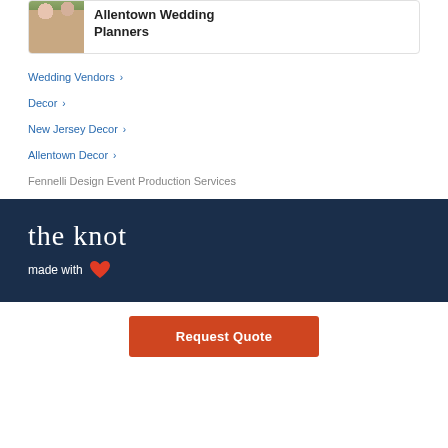[Figure (photo): Small thumbnail image of wedding table decor with floral arrangement, leading to Allentown Wedding Planners]
Allentown Wedding Planners
Wedding Vendors
Decor
New Jersey Decor
Allentown Decor
Fennelli Design Event Production Services
[Figure (logo): The Knot logo in white cursive script on dark navy background, with 'made with' text and red heart icon]
Request Quote